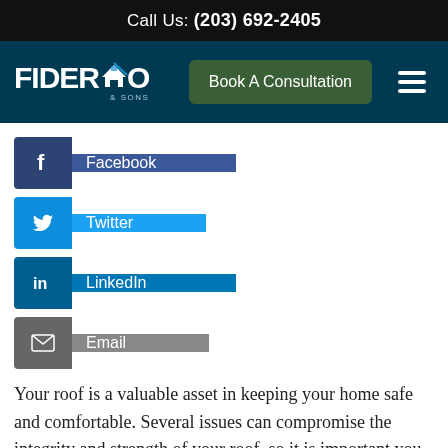Call Us: (203) 692-2405
[Figure (logo): Fiderio & Sons logo with house icon on dark teal navigation bar with Book A Consultation button and hamburger menu]
[Figure (infographic): Facebook, Twitter, LinkedIn, and Email social sharing buttons]
Your roof is a valuable asset in keeping your home safe and comfortable. Several issues can compromise the integrity and strength of your roof, so it is important you are able to spot them...